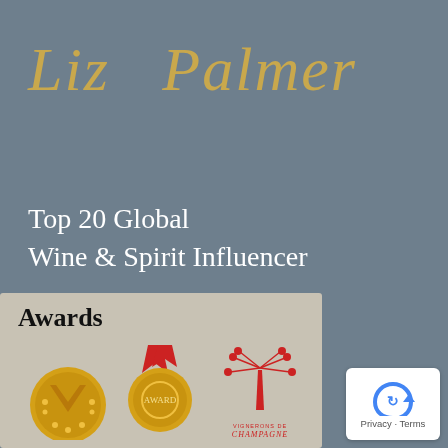Liz Palmer
Top 20 Global
Wine & Spirit Influencer
[Figure (illustration): Awards panel with text 'Awards' and three award medal/logo icons: a gold V-shaped award medal, a gold circular medal with red ribbon, and a red Champagne Grandes Marques sparkling logo]
[Figure (logo): Google Maps privacy reCAPTCHA icon with arrow, labeled 'Privacy · Terms']